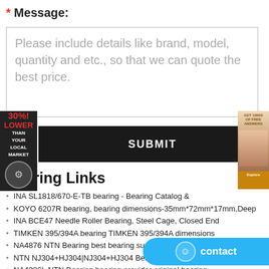* Message:
Please include details like brand, model, quantity and etc., so that we can quote the best price.
SUBMIT
Bearing Links
INA SL1818/670-E-TB bearing - Bearing Catalog &
KOYO 6207R bearing, bearing dimensions-35mm*72mm*17mm,Deep
INA BCE47 Needle Roller Bearing, Steel Cage, Closed End
TIMKEN 395/394A bearing TIMKEN 395/394A dimensions
NA4876 NTN Bearing best bearing supplier best selling bearing
NTN NJ304+HJ304|NJ304+HJ304 Bearings bearings Cote
NA4906L NTN Bearing bearing provider original bearing
4T-366/362A Tapered roller bearings : NTN-SNR, Industry
23164CCK/W33 OH3164H SKF Bearing bearing ex...
N1012KPHA/HC5SP SKF Bearing Huge Stocks bearing... t bearing